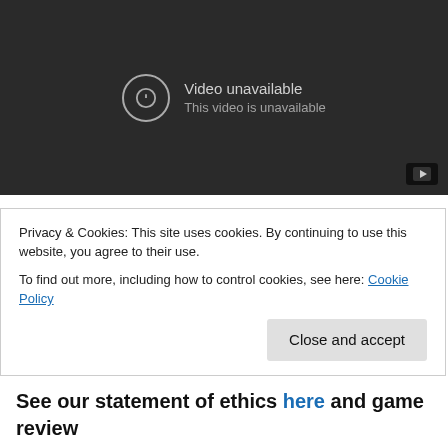[Figure (screenshot): YouTube embedded video player showing 'Video unavailable' error message with exclamation icon and YouTube button in bottom right corner. Dark grey background.]
Developers Insomniac Games and Lisa Brown use game design and a gorgeous homemade aesthetic to promote emotional empathy in fantastic family-friendly title, Slow
Privacy & Cookies: This site uses cookies. By continuing to use this website, you agree to their use.
To find out more, including how to control cookies, see here: Cookie Policy
[Close and accept button]
See our statement of ethics here and game review